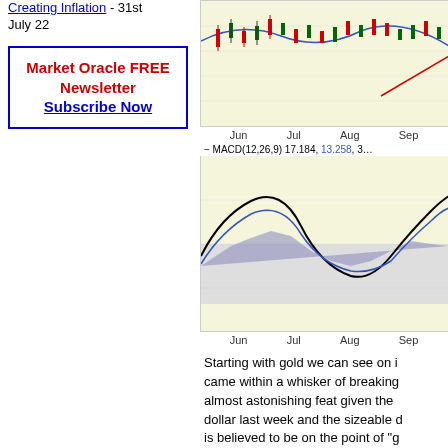Creating Inflation - 31st July 22
[Figure (continuous-plot): MACD chart showing candlestick price data with Jun, Jul, Aug, Sep axis labels at top, and MACD(12,26,9) oscillator with black and blue lines and histogram below, x-axis shows Jun, Jul, Aug, Sep]
- MACD(12,26,9) 17.184, 13.258, 3...
Starting with gold we can see on it came within a whisker of breaking almost astonishing feat given the dollar last week and the sizeable d is believed to be on the point of "g perfectly reasonable thing for it to circumstances, and if the now crit goes into reverse, it should have t
[Figure (other): Newsletter subscription box: Market Oracle FREE Newsletter Subscribe Now]
[Figure (continuous-plot): $GOLD:$XEU (Gold - Continuous Contra...) chart dated 7-May-2010 showing RSI(14) 80.42 and a line chart of gold price in euros with dashed reference lines]